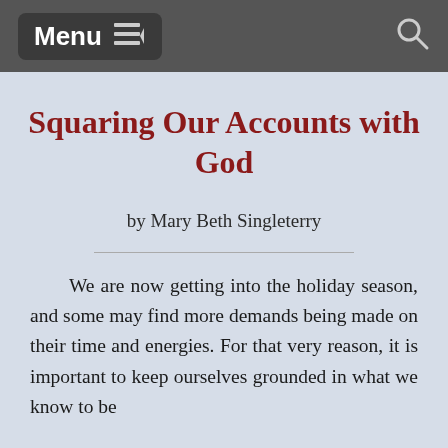Menu
Squaring Our Accounts with God
by Mary Beth Singleterry
We are now getting into the holiday season, and some may find more demands being made on their time and energies. For that very reason, it is important to keep ourselves grounded in what we know to be